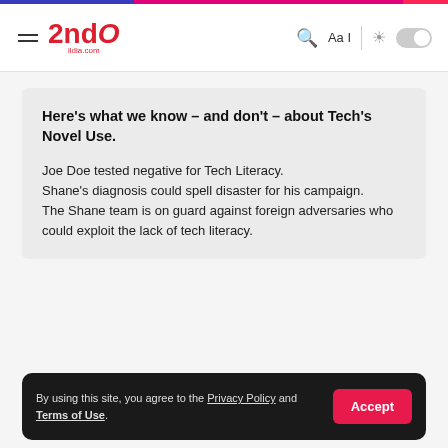IndO - ildia.com
Here's what we know – and don't – about Tech's Novel Use.
Joe Doe tested negative for Tech Literacy.
Shane's diagnosis could spell disaster for his campaign.
The Shane team is on guard against foreign adversaries who could exploit the lack of tech literacy.
By using this site, you agree to the Privacy Policy and Terms of Use.